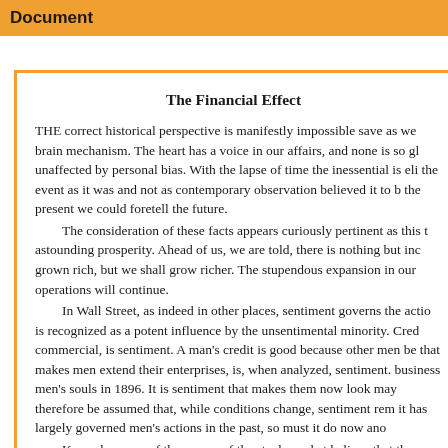Document
The Financial Effect
THE correct historical perspective is manifestly impossible save as we brain mechanism. The heart has a voice in our affairs, and none is so gl unaffected by personal bias. With the lapse of time the inessential is eli the event as it was and not as contemporary observation believed it to b the present we could foretell the future.
The consideration of these facts appears curiously pertinent as this t astounding prosperity. Ahead of us, we are told, there is nothing but inc grown rich, but we shall grow richer. The stupendous expansion in our operations will continue.
In Wall Street, as indeed in other places, sentiment governs the actio is recognized as a potent influence by the unsentimental minority. Cred commercial, is sentiment. A man's credit is good because other men be that makes men extend their enterprises, is, when analyzed, sentiment. business men's souls in 1896. It is sentiment that makes them now look may therefore be assumed that, while conditions change, sentiment rem it has largely governed men's actions in the past, so must it do now ano
Keen observers of the course of the stock-market believe that the up